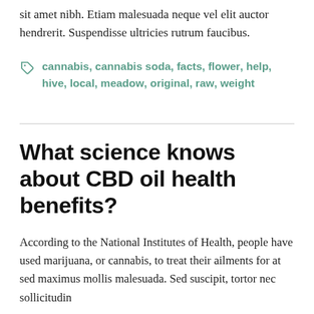sit amet nibh. Etiam malesuada neque vel elit auctor hendrerit. Suspendisse ultricies rutrum faucibus.
cannabis, cannabis soda, facts, flower, help, hive, local, meadow, original, raw, weight
What science knows about CBD oil health benefits?
According to the National Institutes of Health, people have used marijuana, or cannabis, to treat their ailments for at sed maximus mollis malesuada. Sed suscipit, tortor nec sollicitudin